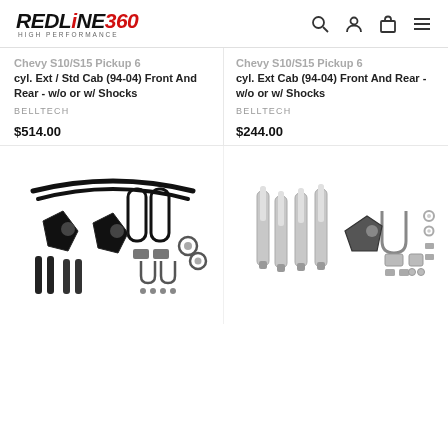[Figure (logo): Redline360 High Performance logo with red accent color]
Chevy S10/S15 Pickup 6 cyl. Ext / Std Cab (94-04) Front And Rear - w/o or w/ Shocks
BELLTECH
$514.00
Chevy S10/S15 Pickup 6 cyl. Ext Cab (94-04) Front And Rear - w/o or w/ Shocks
BELLTECH
$244.00
[Figure (photo): Belltech lowering kit with coil springs, spindles, shocks, U-bolts and hardware for Chevy S10/S15]
[Figure (photo): Belltech shock absorbers set with U-bolts, spindle arm and blocks for Chevy S10/S15]